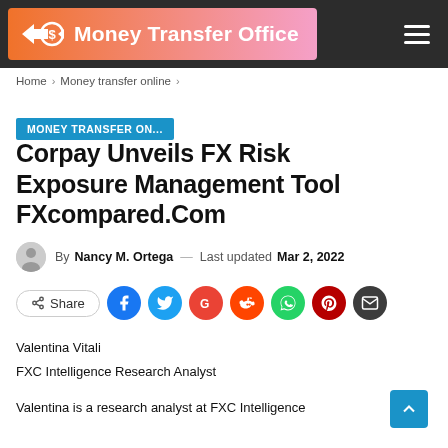Money Transfer Office
Home > Money transfer online >
MONEY TRANSFER ON...
Corpay Unveils FX Risk Exposure Management Tool FXcompared.Com
By Nancy M. Ortega — Last updated Mar 2, 2022
Share
Valentina Vitali
FXC Intelligence Research Analyst
Valentina is a research analyst at FXC Intelligence